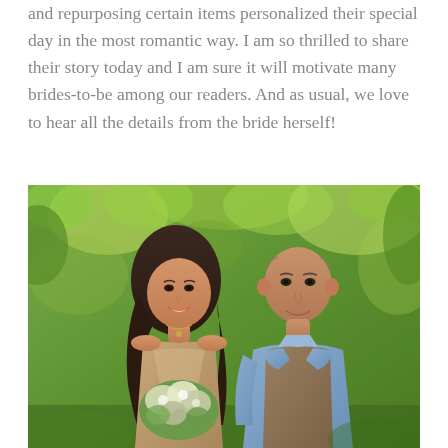and repurposing certain items personalized their special day in the most romantic way. I am so thrilled to share their story today and I am sure it will motivate many brides-to-be among our readers. And as usual, we love to hear all the details from the bride herself!
[Figure (photo): A smiling couple outdoors in a green wooded setting. The woman has long dark hair and holds a white floral bouquet, wearing a patterned dress with a delicate necklace. The man is bald, wearing a blue shirt and a brown vest, smiling at the camera.]